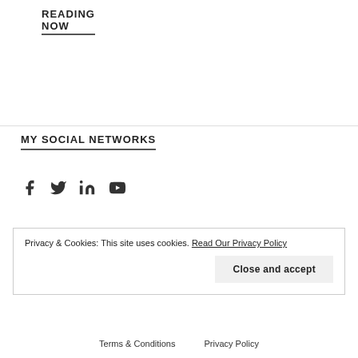READING NOW
MY SOCIAL NETWORKS
[Figure (infographic): Social media icons: Facebook, Twitter, LinkedIn, YouTube]
Privacy & Cookies: This site uses cookies. Read Our Privacy Policy
Close and accept
Terms & Conditions   Privacy Policy